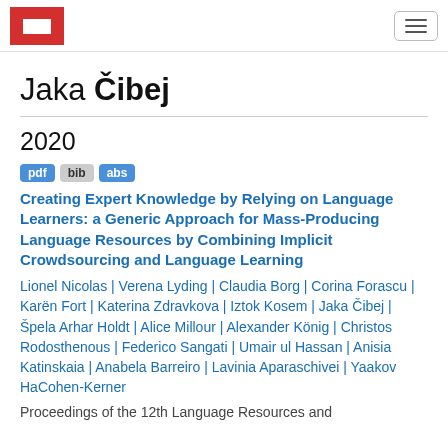Jaka Čibej — navigation bar with logo and menu toggle
Jaka Čibej
2020
pdf bib abs
Creating Expert Knowledge by Relying on Language Learners: a Generic Approach for Mass-Producing Language Resources by Combining Implicit Crowdsourcing and Language Learning
Lionel Nicolas | Verena Lyding | Claudia Borg | Corina Forascu | Karën Fort | Katerina Zdravkova | Iztok Kosem | Jaka Čibej | Špela Arhar Holdt | Alice Millour | Alexander König | Christos Rodosthenous | Federico Sangati | Umair ul Hassan | Anisia Katinskaia | Anabela Barreiro | Lavinia Aparaschivei | Yaakov HaCohen-Kerner
Proceedings of the 12th Language Resources and